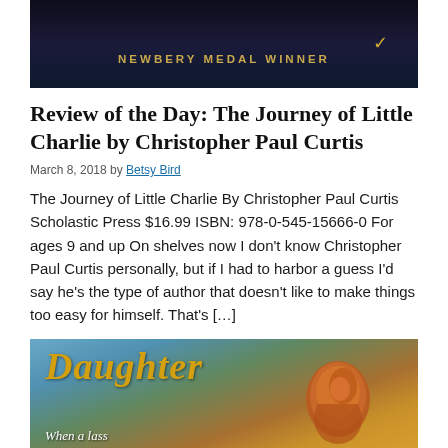[Figure (photo): Book cover top portion showing 'NEWBERY MEDAL WINNER' text on a dark background]
Review of the Day: The Journey of Little Charlie by Christopher Paul Curtis
March 8, 2018 by Betsy Bird
The Journey of Little Charlie By Christopher Paul Curtis Scholastic Press $16.99 ISBN: 978-0-545-15666-0 For ages 9 and up On shelves now I don't know Christopher Paul Curtis personally, but if I had to harbor a guess I’d say he’s the type of author that doesn’t like to make things too easy for himself. That’s […]
[Figure (photo): Book cover bottom portion showing the word 'Daughter' in gold lettering, a figure with red/auburn hair, and the text 'When a lass' at the bottom left, against a blue and warm-toned background]